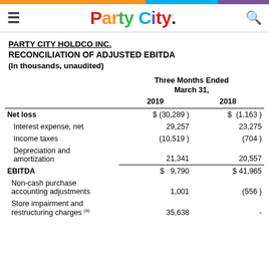Party City
PARTY CITY HOLDCO INC.
RECONCILIATION OF ADJUSTED EBITDA
(In thousands, unaudited)
|  | Three Months Ended March 31, 2019 | Three Months Ended March 31, 2018 |
| --- | --- | --- |
| Net loss | $ (30,289 ) | $ (1,163 ) |
| Interest expense, net | 29,257 | 23,275 |
| Income taxes | (10,519 ) | (704 ) |
| Depreciation and amortization | 21,341 | 20,557 |
| EBITDA | $ 9,790 | $ 41,965 |
| Non-cash purchase accounting adjustments | 1,001 | (556 ) |
| Store impairment and restructuring charges (a) | 35,638 | - |